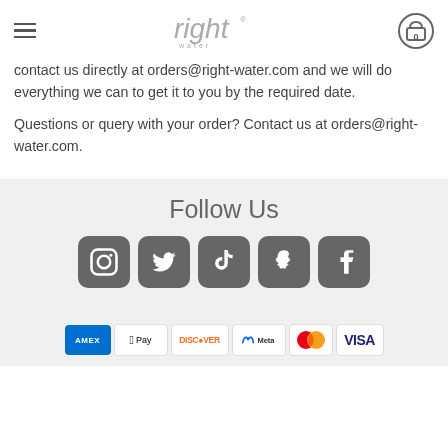right water — navigation header with logo and cart
contact us directly at orders@right-water.com and we will do everything we can to get it to you by the required date.
Questions or query with your order? Contact us at orders@right-water.com.
Follow Us
[Figure (infographic): Social media icons: Instagram, Twitter, TikTok, Snapchat, Facebook — all in rounded square grey buttons]
[Figure (infographic): Payment method icons: American Express, Apple Pay, Discover, Meta Pay, Mastercard, Visa]